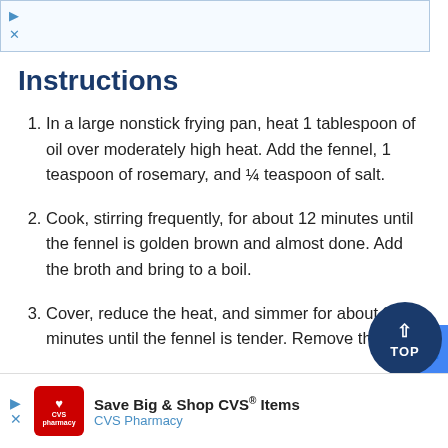[Figure (other): Top advertisement banner with play and close icons, light blue border]
Instructions
In a large nonstick frying pan, heat 1 tablespoon of oil over moderately high heat. Add the fennel, 1 teaspoon of rosemary, and ¼ teaspoon of salt.
Cook, stirring frequently, for about 12 minutes until the fennel is golden brown and almost done. Add the broth and bring to a boil.
Cover, reduce the heat, and simmer for about 3 minutes until the fennel is tender. Remove the
[Figure (other): CVS Pharmacy advertisement banner at bottom: Save Big & Shop CVS® Items]
[Figure (other): Back to TOP circular button, dark navy blue]